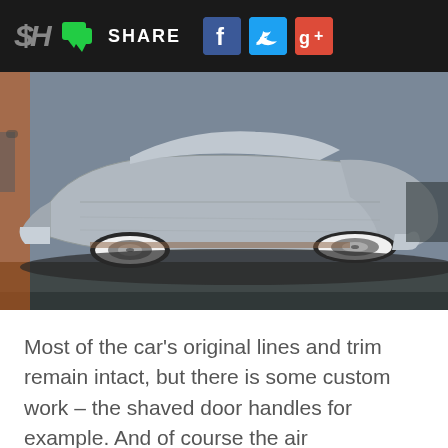SHARE
[Figure (photo): Side view of a heavily lowered classic Pontiac with bare metal/aluminum bodywork, white wall tires, shaved door handles, sitting very low on air suspension in a parking lot. Speedhunters watermark with credit to Mike Garrett in bottom-left corner.]
Most of the car's original lines and trim remain intact, but there is some custom work – the shaved door handles for example. And of course the air suspension, which allows the 70-year-old Pontiac to be dropped right down to the deck.
[Figure (photo): Bottom strip showing partial view of another vehicle interior, dark tones.]